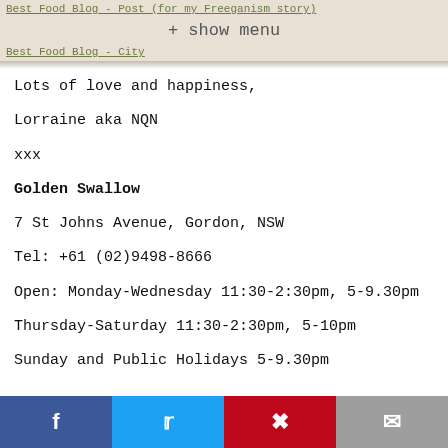Best Food Blog - Post (for my Freeganism story)
+ show menu
Best Food Blog - City
Lots of love and happiness,
Lorraine aka NQN
xxx
Golden Swallow

7 St Johns Avenue, Gordon, NSW

Tel: +61 (02)9498-8666

Open: Monday-Wednesday 11:30-2:30pm, 5-9.30pm

Thursday-Saturday 11:30-2:30pm, 5-10pm

Sunday and Public Holidays 5-9.30pm